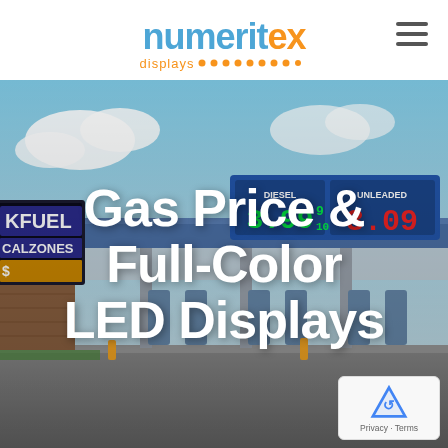[Figure (logo): Numeritex Displays logo with blue and orange text, and dotted orange underline]
[Figure (photo): Gas station with LED price displays showing DIESEL and UNLEADED prices, with a full-color LED sign on the left showing FUEL and CALZONES]
Gas Price & Full-Color LED Displays